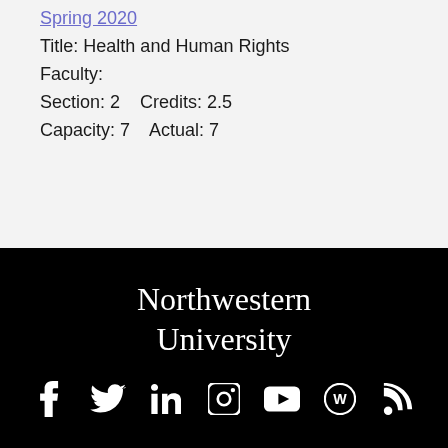Spring 2020
Title: Health and Human Rights
Faculty:
Section: 2    Credits: 2.5
Capacity: 7    Actual: 7
[Figure (logo): Northwestern University logo in white serif text on black background]
[Figure (infographic): Row of social media icons: Facebook, Twitter, LinkedIn, Instagram, YouTube, WordPress, RSS feed — all white on black background]